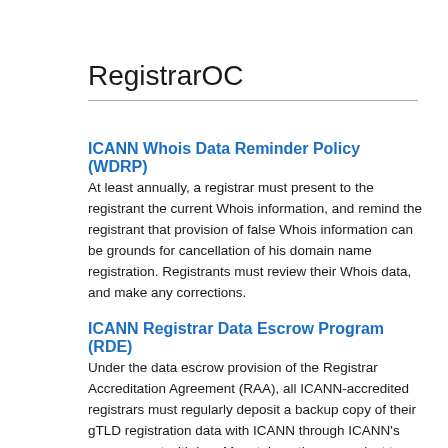RegistrarOC
ICANN Whois Data Reminder Policy (WDRP)
At least annually, a registrar must present to the registrant the current Whois information, and remind the registrant that provision of false Whois information can be grounds for cancellation of his domain name registration. Registrants must review their Whois data, and make any corrections.
ICANN Registrar Data Escrow Program (RDE)
Under the data escrow provision of the Registrar Accreditation Agreement (RAA), all ICANN-accredited registrars must regularly deposit a backup copy of their gTLD registration data with ICANN through ICANN's arrangement with Iron Mountain or they may elect to use a Third Party Provider of RDE services that has been approved by ICANN.